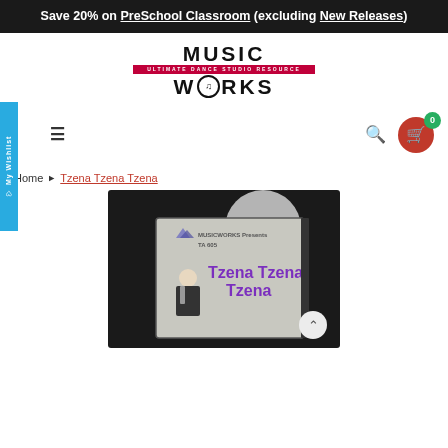Save 20% on PreSchool Classroom (excluding New Releases)
[Figure (logo): Music Works logo with tagline 'Ultimate Dance Studio Resource']
My Wishlist
Home ▶ Tzena Tzena Tzena
[Figure (photo): Product photo of Tzena Tzena Tzena CD/DVD case on dark background, showing a person and purple text 'Tzena Tzena Tzena', with MusicWorks Presents TA 605 label]